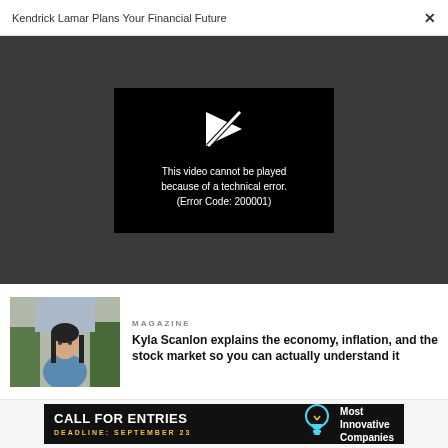Kendrick Lamar Plans Your Financial Future
[Figure (screenshot): Video player showing error: 'This video cannot be played because of a technical error. (Error Code: 200001)']
MAGAZINE
Kyla Scanlon explains the economy, inflation, and the stock market so you can actually understand it
[Figure (photo): Photo of a woman with dark hair wearing a blue top, outdoors with trees in background]
[Figure (infographic): Advertisement banner: CALL FOR ENTRIES, DEADLINE: SEPTEMBER 23, Most Innovative Companies]